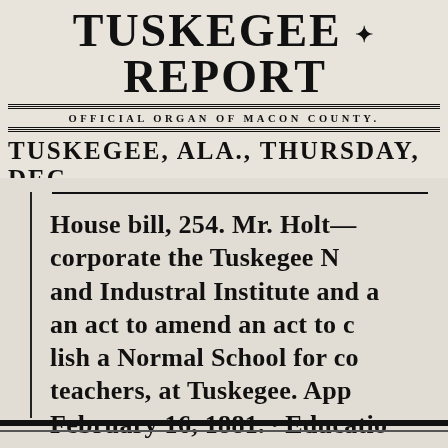TUSKEGEE ✿ REPORT
OFFICIAL ORGAN OF MACON COUNTY.
TUSKEGEE, ALA., THURSDAY, DEC
House bill, 254. Mr. Holt— corporate the Tuskegee N and Industral Institute and a an act to amend an act to lish a Normal School for co teachers, at Tuskegee. App February 16, 1881. · Educatio